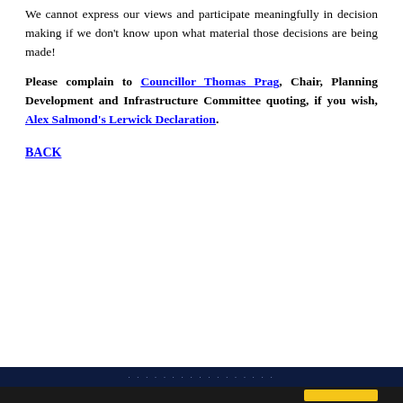We cannot express our views and participate meaningfully in decision making if we don't know upon what material those decisions are being made!
Please complain to Councillor Thomas Prag, Chair, Planning Development and Infrastructure Committee quoting, if you wish, Alex Salmond's Lerwick Declaration.
BACK